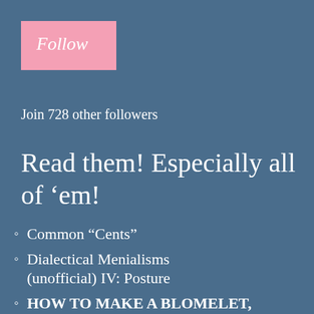Follow
Join 728 other followers
Read them! Especially all of ‘em!
Common “Cents”
Dialectical Menialisms (unofficial) IV: Posture
HOW TO MAKE A BLOMELET,